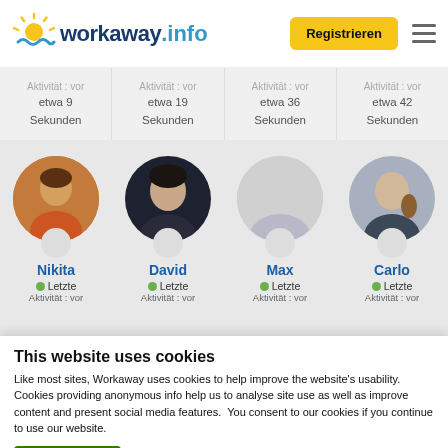[Figure (screenshot): Workaway.info website header with logo and Registrieren button]
Aktivität : vor etwa 9 Sekunden
Aktivität : vor etwa 19 Sekunden
Aktivität : vor etwa 36 Sekunden
Aktivität : vor etwa 42 Sekunden
[Figure (photo): Profile photo of Nikita]
Nikita
Letzte Aktivität : vor
[Figure (photo): Profile photo of David]
David
Letzte Aktivität : vor
[Figure (photo): Profile photo of Max]
Max
Letzte Aktivität : vor
[Figure (photo): Profile photo of Carlo]
Carlo
Letzte Aktivität : vor
This website uses cookies
Like most sites, Workaway uses cookies to help improve the website's usability. Cookies providing anonymous info help us to analyse site use as well as improve content and present social media features.  You consent to our cookies if you continue to use our website.
OK
Settings